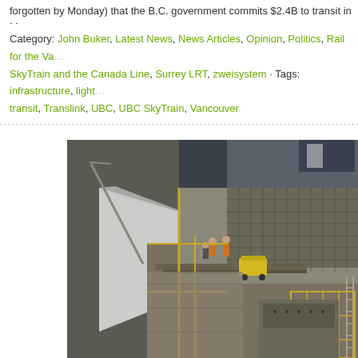forgotten by Monday) that the B.C. government commits $2.4B to transit in M...
Category: John Buker, Latest News, News Articles, Opinion, Politics, Rail for the Va... SkyTrain and the Canada Line, Surrey LRT, zweisystem · Tags: infrastructure, light... transit, Translink, UBC, UBC SkyTrain, Vancouver
[Figure (photo): Construction site photograph showing a large excavation or transit infrastructure construction project. Workers in orange safety vests visible on a platform. Reinforced concrete forms, rebar, scaffolding, and yellow construction equipment visible. A large concrete wall with white sheeting on the left side. Appears to be an underground station or tunnel construction site.]